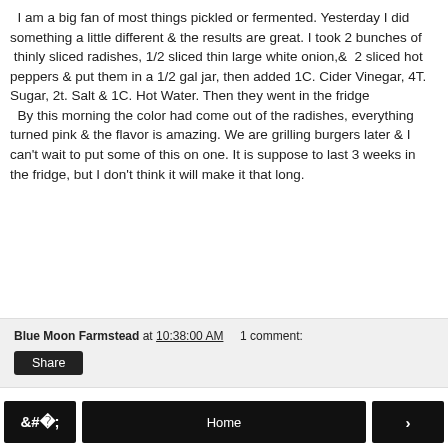I am a big fan of most things pickled or fermented. Yesterday I did something a little different & the results are great. I took 2 bunches of thinly sliced radishes, 1/2 sliced thin large white onion,& 2 sliced hot peppers & put them in a 1/2 gal jar, then added 1C. Cider Vinegar, 4T. Sugar, 2t. Salt & 1C. Hot Water. Then they went in the fridge
  By this morning the color had come out of the radishes, everything turned pink & the flavor is amazing. We are grilling burgers later & I can't wait to put some of this on one. It is suppose to last 3 weeks in the fridge, but I don't think it will make it that long.
Blue Moon Farmstead at 10:38:00 AM   1 comment: